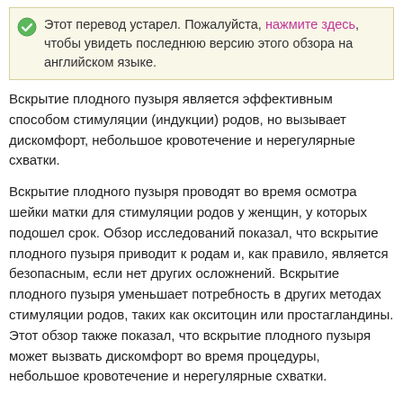Этот перевод устарел. Пожалуйста, нажмите здесь, чтобы увидеть последнюю версию этого обзора на английском языке.
Вскрытие плодного пузыря является эффективным способом стимуляции (индукции) родов, но вызывает дискомфорт, небольшое кровотечение и нерегулярные схватки.
Вскрытие плодного пузыря проводят во время осмотра шейки матки для стимуляции родов у женщин, у которых подошел срок. Обзор исследований показал, что вскрытие плодного пузыря приводит к родам и, как правило, является безопасным, если нет других осложнений. Вскрытие плодного пузыря уменьшает потребность в других методах стимуляции родов, таких как окситоцин или простагландины. Этот обзор также показал, что вскрытие плодного пузыря может вызвать дискомфорт во время процедуры, небольшое кровотечение и нерегулярные схватки.